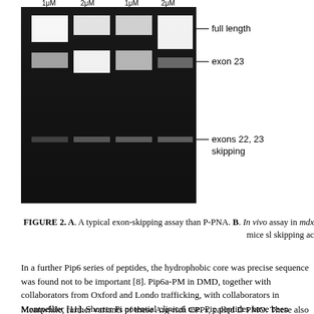[Figure (photo): Gel electrophoresis image showing four lanes with bands labeled: full length, exon 23, and exons 22,23 skipping]
FIGURE 2. A. A typical exon-skipping assay than P-PNA. B. In vivo assay in mdx mice sl skipping ac
In a further Pip6 series of peptides, the hydrophobic core was precise sequence was found not to be important [8]. Pip6a-PM in DMD, together with collaborators from Oxford and Londo trafficking, with collaborators in Montpellier [11]. Shorter Pi potential clinical use. Pip peptides have been included in two pharmaceutical companies for exploitation of their delivery p
Meanwhile, further variants of these Arg-rich CPPs, called D PMO. These also contain fewer Arg residues than Pip6a, wh